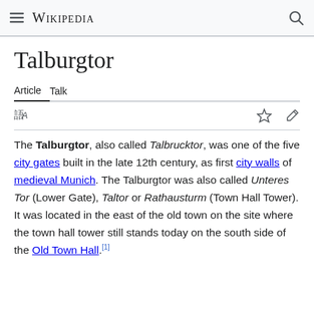Wikipedia
Talburgtor
Article  Talk
The Talburgtor, also called Talbrucktor, was one of the five city gates built in the late 12th century, as first city walls of medieval Munich. The Talburgtor was also called Unteres Tor (Lower Gate), Taltor or Rathausturm (Town Hall Tower). It was located in the east of the old town on the site where the town hall tower still stands today on the south side of the Old Town Hall.[1]